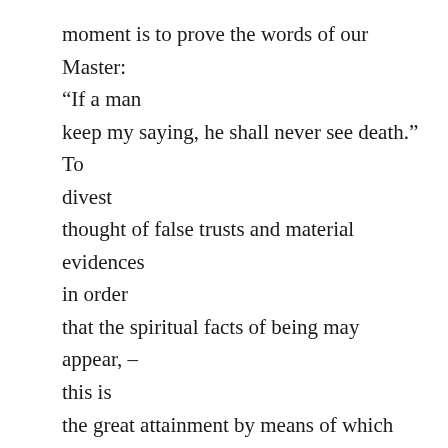moment is to prove the words of our Master: “If a man keep my saying, he shall never see death.” To divest thought of false trusts and material evidences in order that the spiritual facts of being may appear, – this is the great attainment by means of which we shall sweep away the false and give place to the true. Thus we may establish in truth the temple, or body, “whose builder and maker is God.